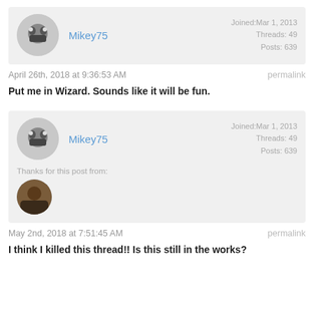[Figure (other): Forum post by Mikey75. Avatar image, username, joined date Mar 1, 2013, Threads: 49, Posts: 639]
April 26th, 2018 at 9:36:53 AM
permalink
Put me in Wizard. Sounds like it will be fun.
[Figure (other): Forum post by Mikey75. Avatar image, username, joined date Mar 1, 2013, Threads: 49, Posts: 639. Thanks for this post from: [avatar]]
May 2nd, 2018 at 7:51:45 AM
permalink
I think I killed this thread!! Is this still in the works?